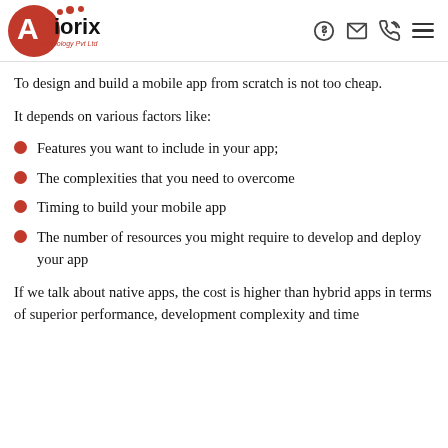Albiorix Technology Pvt Ltd
To design and build a mobile app from scratch is not too cheap.
It depends on various factors like:
Features you want to include in your app;
The complexities that you need to overcome
Timing to build your mobile app
The number of resources you might require to develop and deploy your app
If we talk about native apps, the cost is higher than hybrid apps in terms of superior performance, development complexity and time